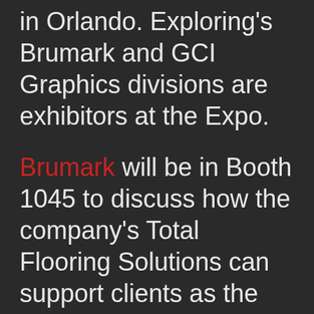in Orlando. Exploring's Brumark and GCI Graphics divisions are exhibitors at the Expo.
Brumark will be in Booth 1045 to discuss how the company's Total Flooring Solutions can support clients as the industry comes out of the pandemic together. This includes solutions such as non-permeable flooring, carpet with anti-microbial properties, and the company's latest innovation, which provides significant cost savings